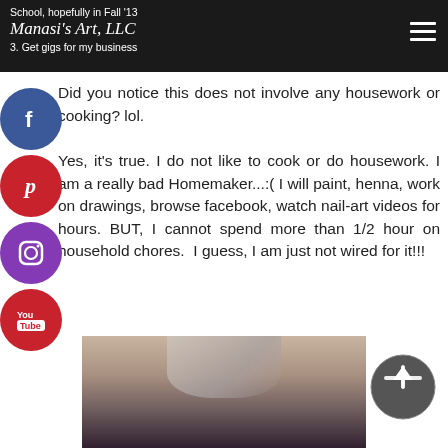School, hopefully in Fall '13
Manasi's Art, LLC
3. Get gigs for my business
Did you notice this does not involve any housework or cooking? lol.

Yes, it's true. I do not like to cook or do housework. I am a really bad Homemaker...:( I will paint, henna, work on drawings, browse facebook, watch nail-art videos for hours. BUT, I cannot spend more than 1/2 hour on household chores. I guess, I am just not wired for it!!!
[Figure (photo): A photo of a person, partially visible, showing hair and upper portion of head/face against a dark background.]